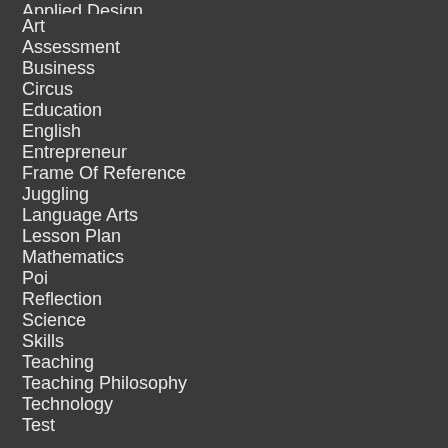Applied Design
Art
Assessment
Business
Circus
Education
English
Entrepreneur
Frame Of Reference
Juggling
Language Arts
Lesson Plan
Mathematics
Poi
Reflection
Science
Skills
Teaching
Teaching Philosophy
Technology
Test